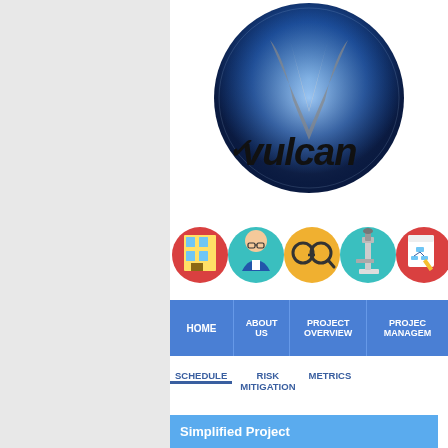[Figure (logo): Vulcan logo — circular blue and silver badge with 'vulcan' text in bold italic black lettering on a blue starfield background]
[Figure (illustration): Row of five circular icons: red circle with building, teal circle with bespectacled person, yellow circle with glasses/magnifier, teal circle with microscope, red circle with diagram/document]
[Figure (infographic): Navigation bar with blue buttons: HOME | ABOUT US | PROJECT OVERVIEW | PROJECT MANAGEMENT (partially visible)]
SCHEDULE   RISK MITIGATION   METRICS
Simplified Project